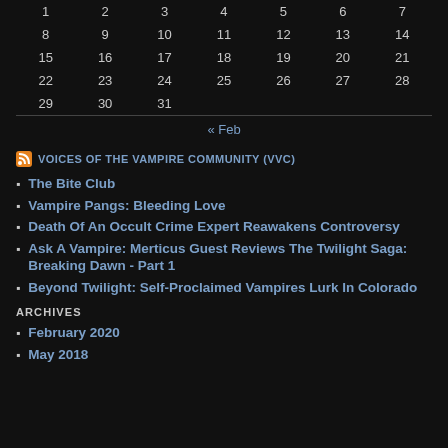|  |  |  |  |  |  |  |
| --- | --- | --- | --- | --- | --- | --- |
| 1 | 2 | 3 | 4 | 5 | 6 | 7 |
| 8 | 9 | 10 | 11 | 12 | 13 | 14 |
| 15 | 16 | 17 | 18 | 19 | 20 | 21 |
| 22 | 23 | 24 | 25 | 26 | 27 | 28 |
| 29 | 30 | 31 |  |  |  |  |
| « Feb |  |  |  |  |  |  |
VOICES OF THE VAMPIRE COMMUNITY (VVC)
The Bite Club
Vampire Pangs: Bleeding Love
Death Of An Occult Crime Expert Reawakens Controversy
Ask A Vampire: Merticus Guest Reviews The Twilight Saga: Breaking Dawn - Part 1
Beyond Twilight: Self-Proclaimed Vampires Lurk In Colorado
ARCHIVES
February 2020
May 2018